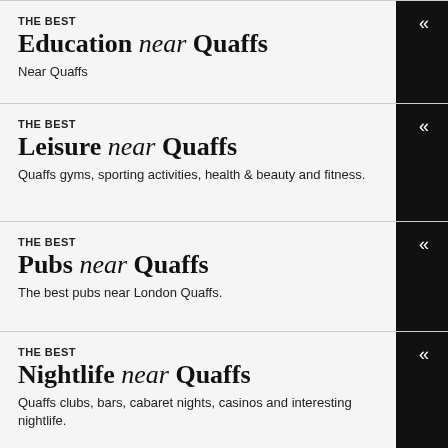THE BEST Education near Quaffs
Near Quaffs
THE BEST Leisure near Quaffs
Quaffs gyms, sporting activities, health & beauty and fitness.
THE BEST Pubs near Quaffs
The best pubs near London Quaffs.
THE BEST Nightlife near Quaffs
Quaffs clubs, bars, cabaret nights, casinos and interesting nightlife.